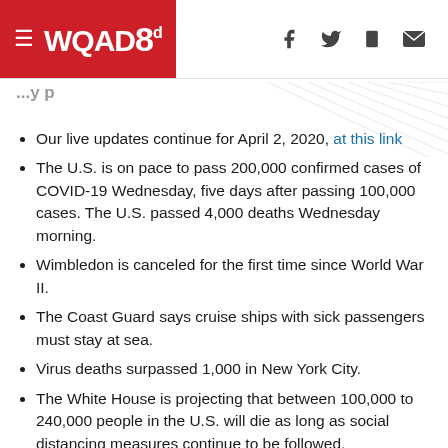WQAD8 - header with hamburger menu and social icons
Our live updates continue for April 2, 2020, at this link
The U.S. is on pace to pass 200,000 confirmed cases of COVID-19 Wednesday, five days after passing 100,000 cases. The U.S. passed 4,000 deaths Wednesday morning.
Wimbledon is canceled for the first time since World War II.
The Coast Guard says cruise ships with sick passengers must stay at sea.
Virus deaths surpassed 1,000 in New York City.
The White House is projecting that between 100,000 to 240,000 people in the U.S. will die as long as social distancing measures continue to be followed.
Russia is sending medical supplies to the U.S.
Louisiana pastor Tony Spell held services for a packed crowd Tuesday despite a ban on large gatherings.
CNN host Chris Cuomo...